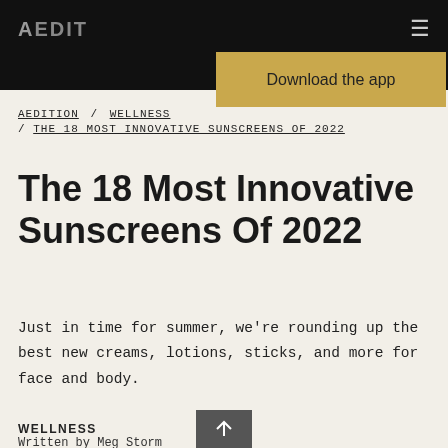AEDIT
Download the app
AEDITION / WELLNESS / THE 18 MOST INNOVATIVE SUNSCREENS OF 2022
The 18 Most Innovative Sunscreens Of 2022
Just in time for summer, we're rounding up the best new creams, lotions, sticks, and more for face and body.
WELLNESS
Written by Meg Storm